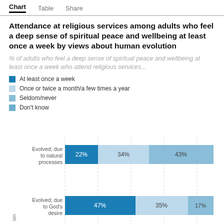Chart   Table   Share
Attendance at religious services among adults who feel a deep sense of spiritual peace and wellbeing at least once a week by views about human evolution
% of adults who feel a deep sense of spiritual peace and wellbeing at least once a week who attend religious services...
At least once a week
Once or twice a month/a few times a year
Seldom/never
Don't know
[Figure (stacked-bar-chart): Attendance at religious services among adults who feel a deep sense of spiritual peace and wellbeing at least once a week by views about human evolution]